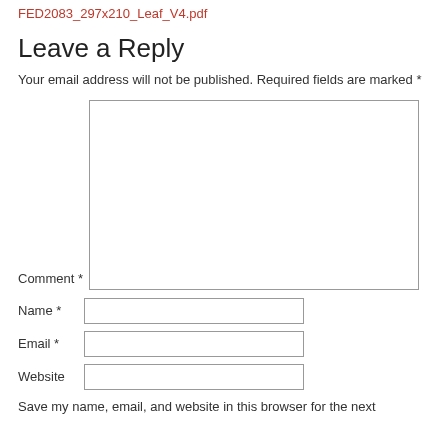FED2083_297x210_Leaf_V4.pdf
Leave a Reply
Your email address will not be published. Required fields are marked *
Comment *
Name *
Email *
Website
Save my name, email, and website in this browser for the next